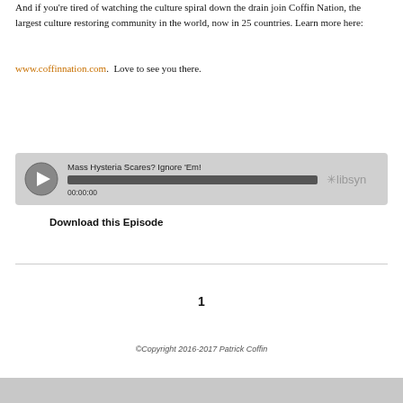And if you're tired of watching the culture spiral down the drain join Coffin Nation, the largest culture restoring community in the world, now in 25 countries. Learn more here:
www.coffinnation.com.  Love to see you there.
[Figure (other): Audio player widget showing episode title 'Mass Hysteria Scares? Ignore ’Em!' with a play button, progress bar at 00:00:00, and Libsyn logo]
Download this Episode
1
©Copyright 2016-2017 Patrick Coffin